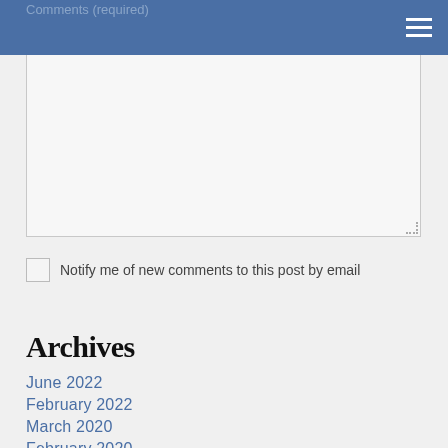Comments (required)
Notify me of new comments to this post by email
Submit
Archives
June 2022
February 2022
March 2020
February 2020